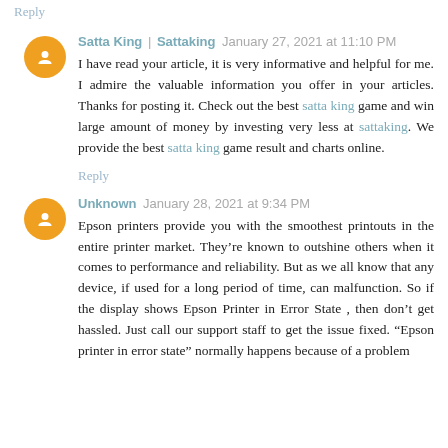Reply
Satta King | Sattaking  January 27, 2021 at 11:10 PM
I have read your article, it is very informative and helpful for me. I admire the valuable information you offer in your articles. Thanks for posting it. Check out the best satta king game and win large amount of money by investing very less at sattaking. We provide the best satta king game result and charts online.
Reply
Unknown  January 28, 2021 at 9:34 PM
Epson printers provide you with the smoothest printouts in the entire printer market. They're known to outshine others when it comes to performance and reliability. But as we all know that any device, if used for a long period of time, can malfunction. So if the display shows Epson Printer in Error State , then don't get hassled. Just call our support staff to get the issue fixed. "Epson printer in error state" normally happens because of a problem